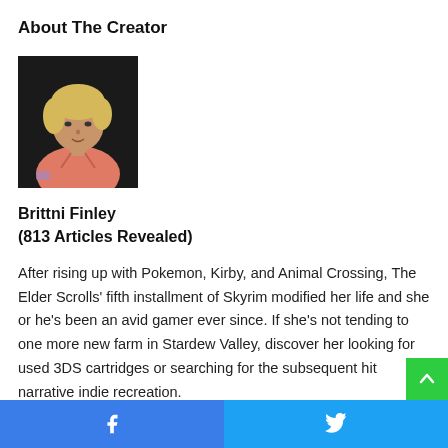About The Creator
[Figure (photo): Photo of Brittni Finley, a woman with short blonde hair wearing a salmon/pink shirt, photographed against a dark background.]
Brittni Finley
(813 Articles Revealed)
After rising up with Pokemon, Kirby, and Animal Crossing, The Elder Scrolls' fifth installment of Skyrim modified her life and she or he's been an avid gamer ever since. If she's not tending to one more new farm in Stardew Valley, discover her looking for used 3DS cartridges or searching for the subsequent hit narrative indie recreation.
Facebook | Twitter